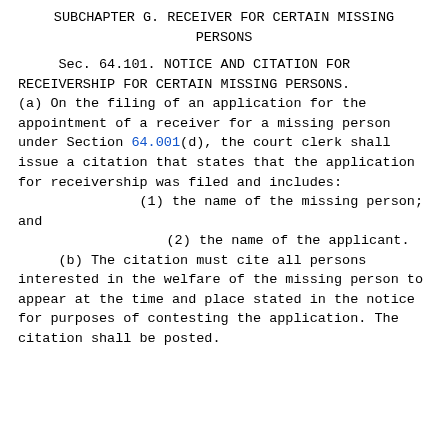SUBCHAPTER G. RECEIVER FOR CERTAIN MISSING PERSONS
Sec. 64.101. NOTICE AND CITATION FOR RECEIVERSHIP FOR CERTAIN MISSING PERSONS. (a) On the filing of an application for the appointment of a receiver for a missing person under Section 64.001(d), the court clerk shall issue a citation that states that the application for receivership was filed and includes:
(1) the name of the missing person; and
(2) the name of the applicant.
(b) The citation must cite all persons interested in the welfare of the missing person to appear at the time and place stated in the notice for purposes of contesting the application. The citation shall be posted.